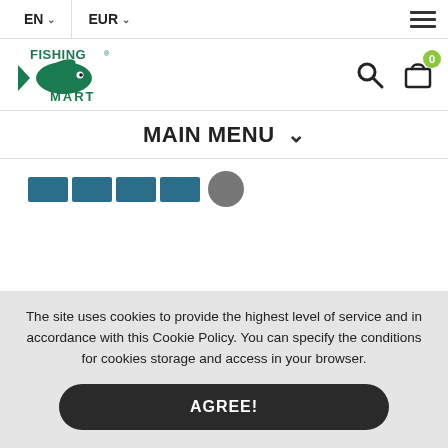EN  EUR
[Figure (logo): Fishing Mart logo — green fish with text FISHING MART]
MAIN MENU
[Figure (screenshot): Product thumbnail images in teal/blue color swatches and a circular spool icon]
Prices from 2.17 €
The site uses cookies to provide the highest level of service and in accordance with this Cookie Policy. You can specify the conditions for cookies storage and access in your browser.
AGREE!